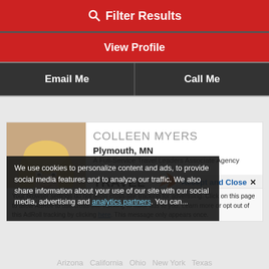Filter Results
View Profile
Email Me
Call Me
[Figure (photo): Profile photo of Colleen Myers, a woman with blonde hair]
COLLEEN MYERS
Plymouth, MN
A Full-Service Travel Leaders Associate Agency
[Figure (logo): Travel Leaders logo with orange arrow and Travel Better tagline in teal]
We use cookies to personalize content and ads, to provide social media features and to analyze our traffic. We also share information about your use of our site with our social media, advertising and analytics partners. You can...
Accept and Close ×
Your browser settings do not allow cross-site tracking for advertising. Click on this page to allow AdRoll to use cross-site tracking to tailor ads to you. Learn more or opt out of this AdRoll tracking by clicking here. This message only appears once.
Arizona  California  Ohio  New York  Texas